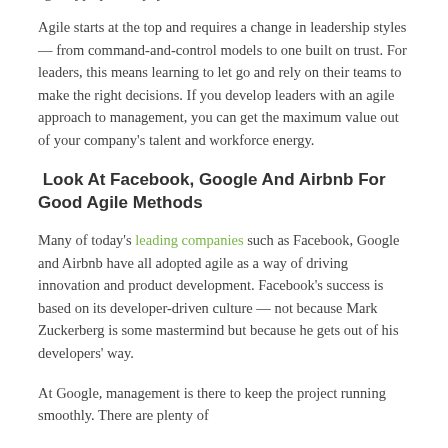agile-type philosophy.
Agile starts at the top and requires a change in leadership styles — from command-and-control models to one built on trust. For leaders, this means learning to let go and rely on their teams to make the right decisions. If you develop leaders with an agile approach to management, you can get the maximum value out of your company's talent and workforce energy.
Look At Facebook, Google And Airbnb For Good Agile Methods
Many of today's leading companies such as Facebook, Google and Airbnb have all adopted agile as a way of driving innovation and product development. Facebook's success is based on its developer-driven culture — not because Mark Zuckerberg is some mastermind but because he gets out of his developers' way.
At Google, management is there to keep the project running smoothly. There are plenty of